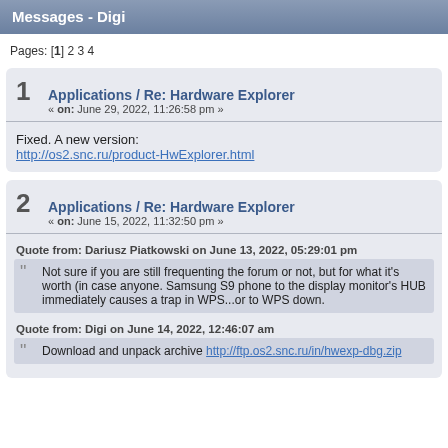Messages - Digi
Pages: [1] 2 3 4
1 Applications / Re: Hardware Explorer « on: June 29, 2022, 11:26:58 pm »
Fixed. A new version:
http://os2.snc.ru/product-HwExplorer.html
2 Applications / Re: Hardware Explorer « on: June 15, 2022, 11:32:50 pm »
Quote from: Dariusz Piatkowski on June 13, 2022, 05:29:01 pm
Not sure if you are still frequenting the forum or not, but for what it's worth (in case anyone. Samsung S9 phone to the display monitor's HUB immediately causes a trap in WPS...or to WPS down.
Quote from: Digi on June 14, 2022, 12:46:07 am
Download and unpack archive http://ftp.os2.snc.ru/in/hwexp-dbg.zip